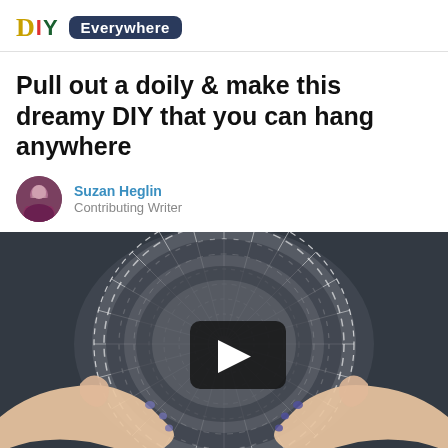DIY Everywhere
Pull out a doily & make this dreamy DIY that you can hang anywhere
Suzan Heglin
Contributing Writer
[Figure (photo): Video thumbnail showing two hands holding a white crocheted doily against a dark slate background, with a YouTube-style play button overlay in the center.]